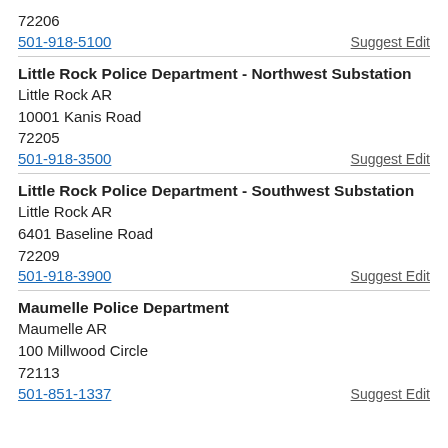72206
501-918-5100
Suggest Edit
Little Rock Police Department - Northwest Substation
Little Rock AR
10001 Kanis Road
72205
501-918-3500
Suggest Edit
Little Rock Police Department - Southwest Substation
Little Rock AR
6401 Baseline Road
72209
501-918-3900
Suggest Edit
Maumelle Police Department
Maumelle AR
100 Millwood Circle
72113
501-851-1337
Suggest Edit